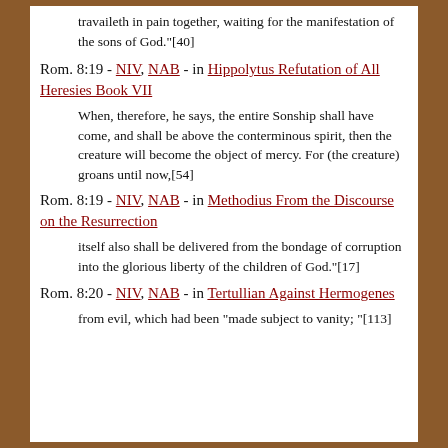travaileth in pain together, waiting for the manifestation of the sons of God."[40]
Rom. 8:19 - NIV, NAB - in Hippolytus Refutation of All Heresies Book VII
When, therefore, he says, the entire Sonship shall have come, and shall be above the conterminous spirit, then the creature will become the object of mercy. For (the creature) groans until now,[54]
Rom. 8:19 - NIV, NAB - in Methodius From the Discourse on the Resurrection
itself also shall be delivered from the bondage of corruption into the glorious liberty of the children of God."[17]
Rom. 8:20 - NIV, NAB - in Tertullian Against Hermogenes
from evil, which had been "made subject to vanity; "[113]